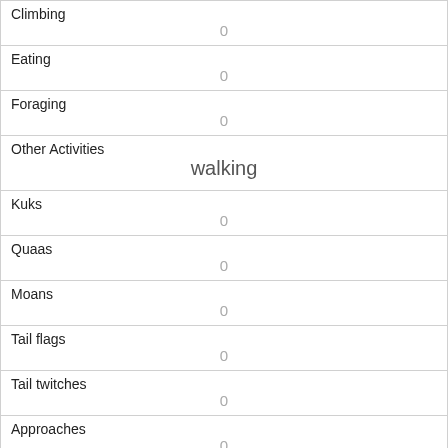| Climbing | 0 |
| Eating | 0 |
| Foraging | 0 |
| Other Activities | walking |
| Kuks | 0 |
| Quaas | 0 |
| Moans | 0 |
| Tail flags | 0 |
| Tail twitches | 0 |
| Approaches | 0 |